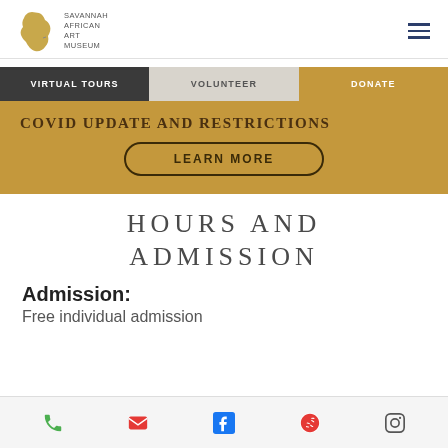[Figure (logo): Savannah African Art Museum logo with Africa continent silhouette and text]
VIRTUAL TOURS | VOLUNTEER | DONATE
COVID UPDATE AND RESTRICTIONS
LEARN MORE
HOURS AND ADMISSION
Admission:
Free individual admission
Phone | Email | Facebook | Yelp | Instagram